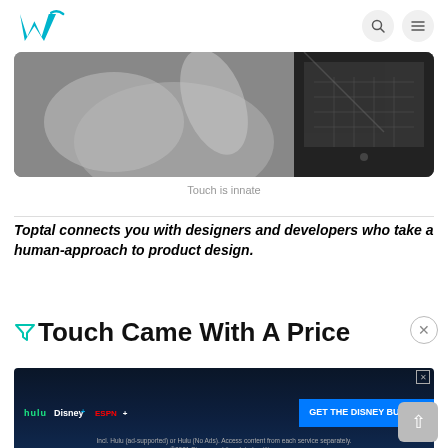W (logo) | Search | Menu
[Figure (photo): Close-up grayscale photo of hands touching a smartphone or tablet screen, showing fingers and the device's keyboard/screen area.]
Touch is innate
Toptal connects you with designers and developers who take a human-approach to product design.
Touch Came With A Price
[Figure (infographic): Advertisement banner for the Disney Bundle featuring Hulu, Disney+, and ESPN+ logos with a blue CTA button saying GET THE DISNEY BUNDLE. Fine print reads: Incl. Hulu (ad-supported) or Hulu (No Ads). Access content from each service separately. ©2021 Disney and its related entities.]